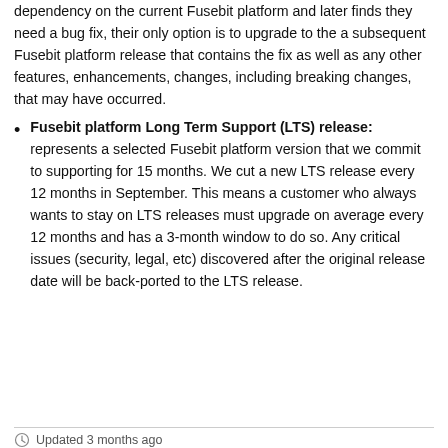dependency on the current Fusebit platform and later finds they need a bug fix, their only option is to upgrade to the a subsequent Fusebit platform release that contains the fix as well as any other features, enhancements, changes, including breaking changes, that may have occurred.
Fusebit platform Long Term Support (LTS) release: represents a selected Fusebit platform version that we commit to supporting for 15 months. We cut a new LTS release every 12 months in September. This means a customer who always wants to stay on LTS releases must upgrade on average every 12 months and has a 3-month window to do so. Any critical issues (security, legal, etc) discovered after the original release date will be back-ported to the LTS release.
Updated 3 months ago